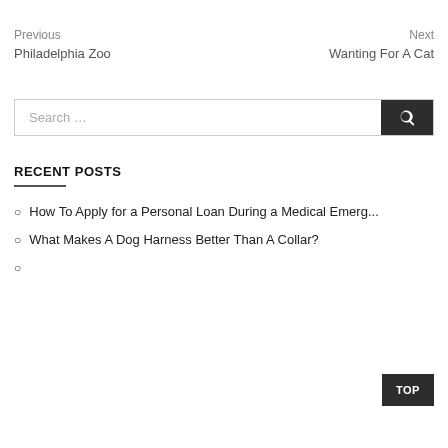Previous
Philadelphia Zoo
Next
Wanting For A Cat
Search ...
RECENT POSTS
How To Apply for a Personal Loan During a Medical Emerg...
What Makes A Dog Harness Better Than A Collar?
...